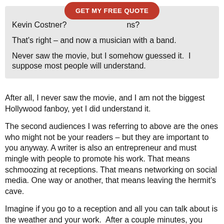[Figure (other): Red rounded-rectangle button with white bold text 'GET MY FREE QUOTE']
Kevin Costner? [button overlay] ns?
That's right – and now a musician with a band.
Never saw the movie, but I somehow guessed it.  I suppose most people will understand.
After all, I never saw the movie, and I am not the biggest Hollywood fanboy, yet I did understand it.
The second audiences I was referring to above are the ones who might not be your readers – but they are important to you anyway. A writer is also an entrepreneur and must mingle with people to promote his work. That means schmoozing at receptions. That means networking on social media. One way or another, that means leaving the hermit's cave.
Imagine if you go to a reception and all you can talk about is the weather and your work.  After a couple minutes, you become famous for being boring.
Believe it or not, many people are like that on social media.  The only things they post on Twitter or BizSugar or Google Plus or Tumblr is their work, blog posts. You know...